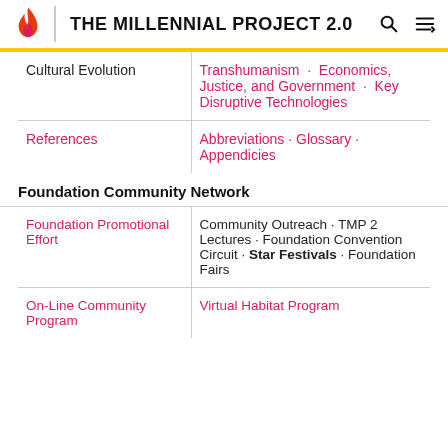THE MILLENNIAL PROJECT 2.0
| Cultural Evolution | Transhumanism · Economics, Justice, and Government · Key Disruptive Technologies |
| References | Abbreviations · Glossary · Appendicies |
Foundation Community Network
| Foundation Promotional Effort | Community Outreach · TMP 2 Lectures · Foundation Convention Circuit · Star Festivals · Foundation Fairs |
| On-Line Community Program | Virtual Habitat Program |